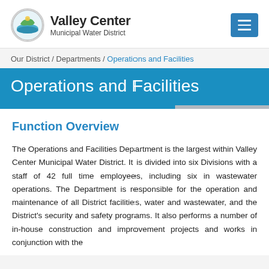[Figure (logo): Valley Center Municipal Water District logo with circular emblem and text]
Our District / Departments / Operations and Facilities
Operations and Facilities
Function Overview
The Operations and Facilities Department is the largest within Valley Center Municipal Water District. It is divided into six Divisions with a staff of 42 full time employees, including six in wastewater operations. The Department is responsible for the operation and maintenance of all District facilities, water and wastewater, and the District's security and safety programs. It also performs a number of in-house construction and improvement projects and works in conjunction with the